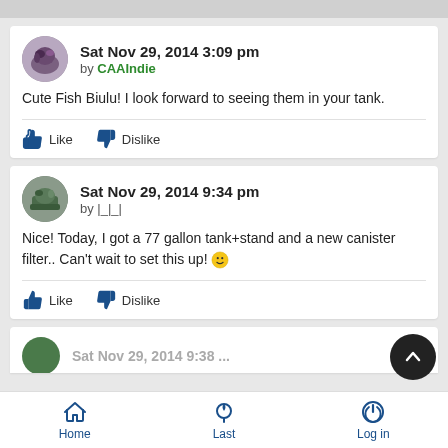Sat Nov 29, 2014 3:09 pm
by CAAIndie
Cute Fish Biulu! I look forward to seeing them in your tank.
Like  Dislike
Sat Nov 29, 2014 9:34 pm
by |_|_|
Nice! Today, I got a 77 gallon tank+stand and a new canister filter.. Can't wait to set this up! 🙂
Like  Dislike
Home  Last  Log in